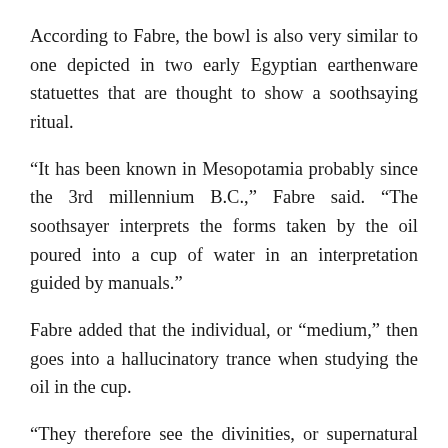According to Fabre, the bowl is also very similar to one depicted in two early Egyptian earthenware statuettes that are thought to show a soothsaying ritual.
“It has been known in Mesopotamia probably since the 3rd millennium B.C.,” Fabre said. “The soothsayer interprets the forms taken by the oil poured into a cup of water in an interpretation guided by manuals.”
Fabre added that the individual, or “medium,” then goes into a hallucinatory trance when studying the oil in the cup.
“They therefore see the divinities, or supernatural beings appear that they call to answer their questions with regard to the future,” he said.
Viegas writes that scientists theorize the magus might then have used the engraving on the bowl to legitimize his supernatural